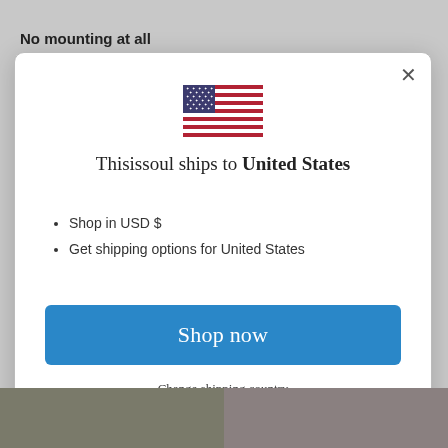No mounting at all
[Figure (screenshot): Modal dialog showing US flag and shipping information for Thisissoul website]
Thisissoul ships to United States
Shop in USD $
Get shipping options for United States
Shop now
Change shipping country
[Figure (photo): Bottom strip showing partial photos of people]